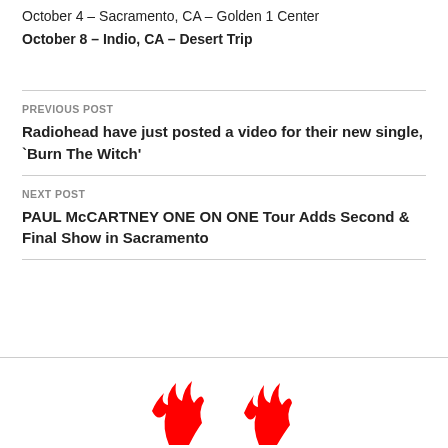October 4 – Sacramento, CA – Golden 1 Center
October 8 – Indio, CA – Desert Trip
PREVIOUS POST
Radiohead have just posted a video for their new single, `Burn The Witch'
NEXT POST
PAUL McCARTNEY ONE ON ONE Tour Adds Second & Final Show in Sacramento
[Figure (logo): Red logo/illustration at bottom of page]